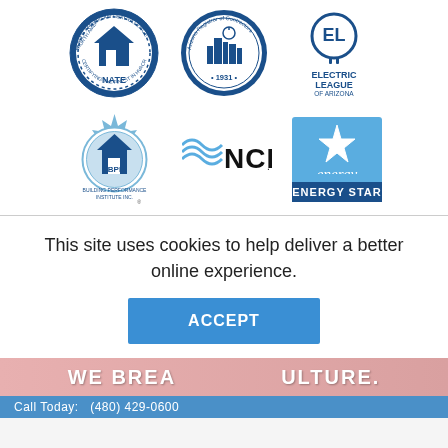[Figure (logo): NATE - North American Technician Excellence, Certifying the Finest in HVACR logo (circular blue badge)]
[Figure (logo): Arizona Registrar of Contractors 1931 circular blue seal logo]
[Figure (logo): Electric League of Arizona blue logo with EL plug icon]
[Figure (logo): BPI Building Performance Institute Inc. circular blue badge logo with registered trademark]
[Figure (logo): NCI logo with blue wave graphic]
[Figure (logo): ENERGY STAR blue square logo with star icon]
This site uses cookies to help deliver a better online experience.
ACCEPT
WE BREATHE [culture].
Call Today: (480) 429-0600